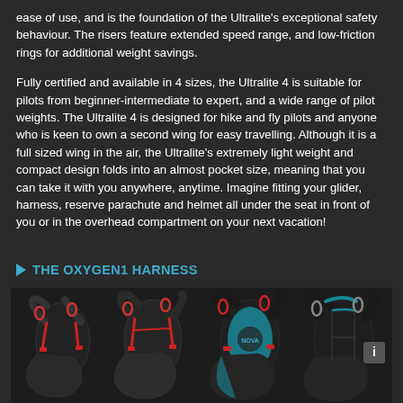ease of use, and is the foundation of the Ultralite's exceptional safety behaviour. The risers feature extended speed range, and low-friction rings for additional weight savings.

Fully certified and available in 4 sizes, the Ultralite 4 is suitable for pilots from beginner-intermediate to expert, and a wide range of pilot weights. The Ultralite 4 is designed for hike and fly pilots and anyone who is keen to own a second wing for easy travelling. Although it is a full sized wing in the air, the Ultralite's extremely light weight and compact design folds into an almost pocket size, meaning that you can take it with you anywhere, anytime. Imagine fitting your glider, harness, reserve parachute and helmet all under the seat in front of you or in the overhead compartment on your next vacation!
THE OXYGEN1 HARNESS
[Figure (photo): Four views of the Oxygen1 paragliding harness shown side by side against a dark background. The harnesses are shown in black with red accents (first two) and black with blue/teal accents (last two). Each shows the harness from a slightly different angle.]